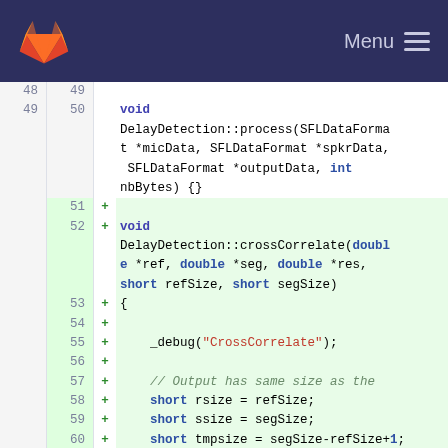[Figure (screenshot): GitLab navigation header with logo and Menu button]
Code diff view showing lines 48-61 of a C++ source file. Lines 48-50 show unchanged code for void DelayDetection::process(SFLDataFormat *micData, SFLDataFormat *spkrData, SFLDataFormat *outputData, int nbBytes) {}. Lines 51-61 show added lines (+) for void DelayDetection::crossCorrelate(double *ref, double *seg, double *res, short refSize, short segSize) { _debug("CrossCorrelate"); // Output has same size as the... short rsize = refSize; short ssize = segSize; short tmpsize = segSize-refSize+1; }